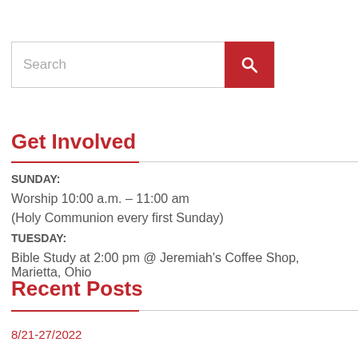[Figure (screenshot): Search input field with red search button containing a magnifying glass icon]
Get Involved
SUNDAY:
Worship 10:00 a.m. – 11:00 am
(Holy Communion every first Sunday)
TUESDAY:
Bible Study at 2:00 pm @ Jeremiah's Coffee Shop, Marietta, Ohio
Recent Posts
8/21-27/2022